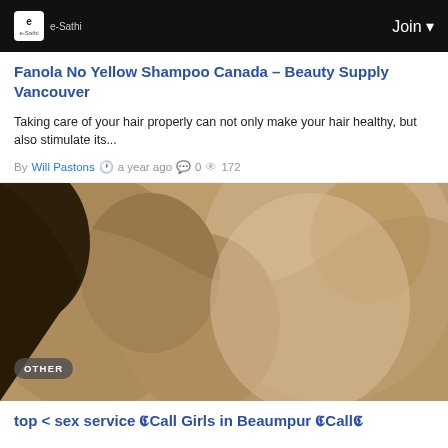e-Sathi | Join
Fanola No Yellow Shampoo Canada – Beauty Supply Vancouver
Taking care of your hair properly can not only make your hair healthy, but also stimulate its...
By Will Pastons  a year ago  0  172
[Figure (photo): Sepia-toned intimate photo of a couple embracing and kissing, partially cropped. An 'OTHER' badge overlays the bottom-left of the image.]
top < sex service 𝕮Call Girls in Beaumpur 𝕮Call𝕮